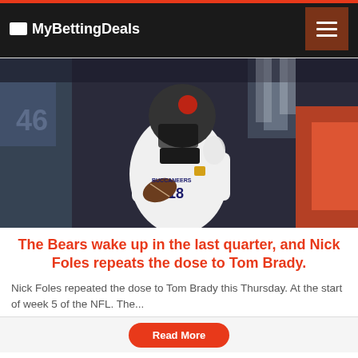MyBettingDeals
[Figure (photo): Tampa Bay Buccaneers quarterback in white uniform and helmet holding a football, preparing to throw, with a blurred stadium background]
The Bears wake up in the last quarter, and Nick Foles repeats the dose to Tom Brady.
Nick Foles repeated the dose to Tom Brady this Thursday. At the start of week 5 of the NFL. The...
Read More